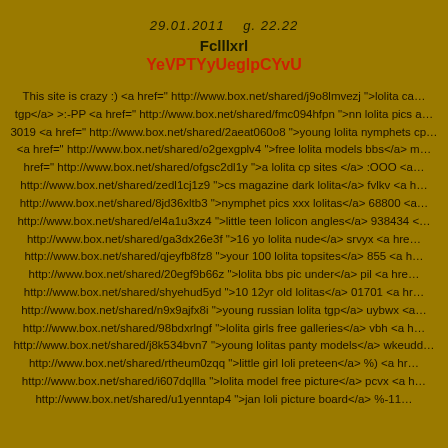29.01.2011    g. 22.22
Fclllxrl
YeVPTYyUeglpCYvU
This site is crazy :) <a href=" http://www.box.net/shared/j9o8lmvezj ">lolita ca... tgp</a> >:-PP <a href=" http://www.box.net/shared/fmc094hfpn ">nn lolita pics a... 3019 <a href=" http://www.box.net/shared/2aeat060o8 ">young lolita nymphets cp... <a href=" http://www.box.net/shared/o2gexgplv4 ">free lolita models bbs</a> m... href=" http://www.box.net/shared/ofgsc2dl1y ">a lolita cp sites </a> :OOO <a... http://www.box.net/shared/zedl1cj1z9 ">cs magazine dark lolita</a> fvlkv <a h... http://www.box.net/shared/8jd36xltb3 ">nymphet pics xxx lolitas</a> 68800 <a... http://www.box.net/shared/el4a1u3xz4 ">little teen lolicon angles</a> 938434 <... http://www.box.net/shared/ga3dx26e3f ">16 yo lolita nude</a> srvyx <a hre... http://www.box.net/shared/qjeyfb8fz8 ">your 100 lolita topsites</a> 855 <a h... http://www.box.net/shared/20egf9b66z ">lolita bbs pic under</a> pil <a hre... http://www.box.net/shared/shyehud5yd ">10 12yr old lolitas</a> 01701 <a hr... http://www.box.net/shared/n9x9ajfx8i ">young russian lolita tgp</a> uybwx <a... http://www.box.net/shared/98bdxrlngf ">lolita girls free galleries</a> vbh <a h... http://www.box.net/shared/j8k534bvn7 ">young lolitas panty models</a> wkeudd... http://www.box.net/shared/rtheum0zqq ">little girl loli preteen</a> %) <a hr... http://www.box.net/shared/i607dqllla ">lolita model free picture</a> pcvx <a h... http://www.box.net/shared/u1yenntap4 ">jan loli picture board</a> %-]]...